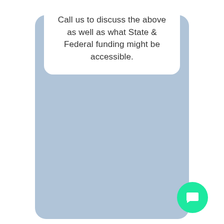Call us to discuss the above as well as what State & Federal funding might be accessible.
[Figure (other): Green circular chat/message button icon in bottom-right corner]